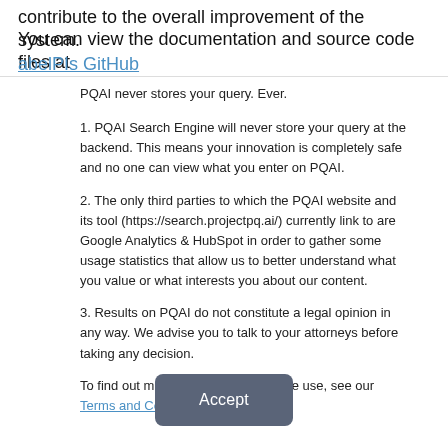contribute to the overall improvement of the system.
You can view the documentation and source code files at
abelPIs GitHub
PQAI never stores your query. Ever.
1. PQAI Search Engine will never store your query at the backend. This means your innovation is completely safe and no one can view what you enter on PQAI.
2. The only third parties to which the PQAI website and its tool (https://search.projectpq.ai/) currently link to are Google Analytics & HubSpot in order to gather some usage statistics that allow us to better understand what you value or what interests you about our content.
3. Results on PQAI do not constitute a legal opinion in any way. We advise you to talk to your attorneys before taking any decision.
To find out more about the cookies we use, see our Terms and Conditions.
Accept